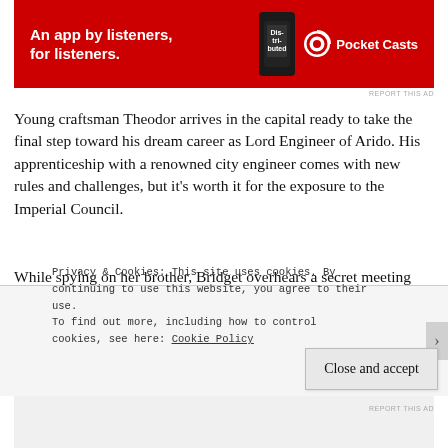[Figure (other): Red advertisement banner for Pocket Casts app with text 'An app by listeners, for listeners.' and Pocket Casts logo on right side with phone graphic]
REPORT THIS AD
Young craftsman Theodor arrives in the capital ready to take the final step toward his dream career as Lord Engineer of Arido. His apprenticeship with a renowned city engineer comes with new rules and challenges, but it’s worth it for the exposure to the Imperial Council.
While spying on her brother, Bridget overhears a secret meeting that reveals a cruel plot. After more than a decade apart, Theodor and Bridget must reunite to stop a traitor whose plan threatens not only their city, but the whole
Privacy & Cookies: This site uses cookies. By continuing to use this website, you agree to their use.
To find out more, including how to control cookies, see here: Cookie Policy
Close and accept
REPORT THIS AD